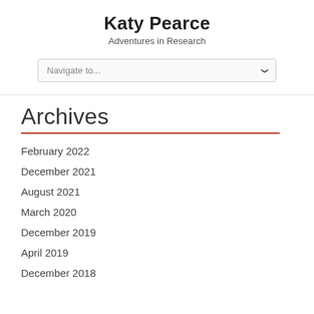Katy Pearce
Adventures in Research
February 2022
December 2021
August 2021
March 2020
December 2019
April 2019
December 2018